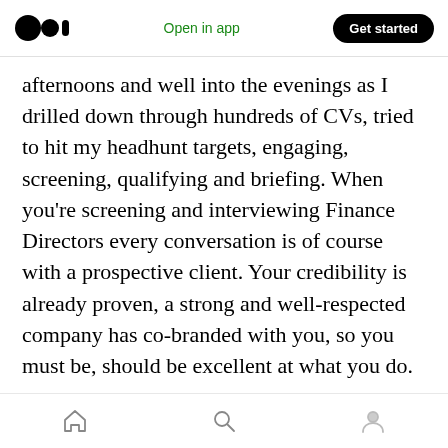Open in app | Get started
afternoons and well into the evenings as I drilled down through hundreds of CVs, tried to hit my headhunt targets, engaging, screening, qualifying and briefing. When you're screening and interviewing Finance Directors every conversation is of course with a prospective client. Your credibility is already proven, a strong and well-respected company has co-branded with you, so you must be, should be excellent at what you do.
The difference between contingent and retained recruitment isn't about the fees, it's about the
Home | Search | Profile